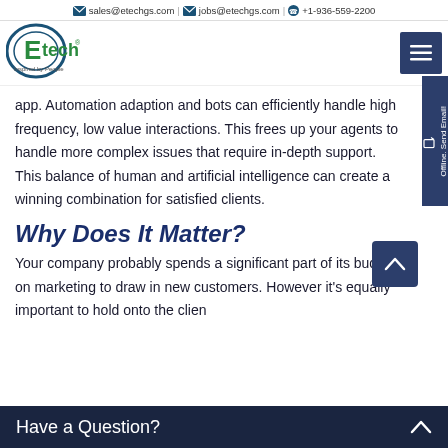sales@etechgs.com | jobs@etechgs.com | +1-936-559-2200
[Figure (logo): Etech logo — green oval with stylized E, text 'Etech' in green, tagline below]
app. Automation adaption and bots can efficiently handle high frequency, low value interactions. This frees up your agents to handle more complex issues that require in-depth support. This balance of human and artificial intelligence can create a winning combination for satisfied clients.
Why Does It Matter?
Your company probably spends a significant part of its budget on marketing to draw in new customers. However it's equally important to hold onto the clien
Have a Question?